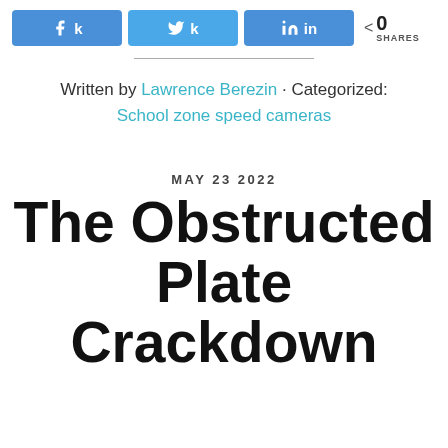[Figure (other): Social sharing buttons for Facebook, Twitter, and LinkedIn, plus a share count showing 0 SHARES]
Written by Lawrence Berezin · Categorized: School zone speed cameras
MAY 23 2022
The Obstructed Plate Crackdown